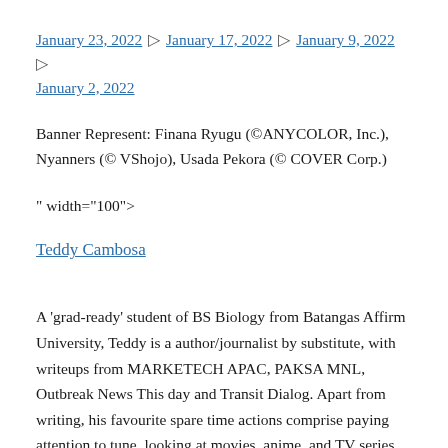January 23, 2022 ▷ January 17, 2022 ▷ January 9, 2022 ▷ January 2, 2022
Banner Represent: Finana Ryugu (©ANYCOLOR, Inc.), Nyanners (© VShojo), Usada Pekora (© COVER Corp.)
" width="100">
Teddy Cambosa
A 'grad-ready' student of BS Biology from Batangas Affirm University, Teddy is a author/journalist by substitute, with writeups from MARKETECH APAC, PAKSA MNL, Outbreak News This day and Transit Dialog. Apart from writing, his favourite spare time actions comprise paying attention to tune, looking at movies, anime, and TV series, nature excursions, and further just currently following VTubers. He's stuffed with life in following the endeavors of Aogora Kurumi